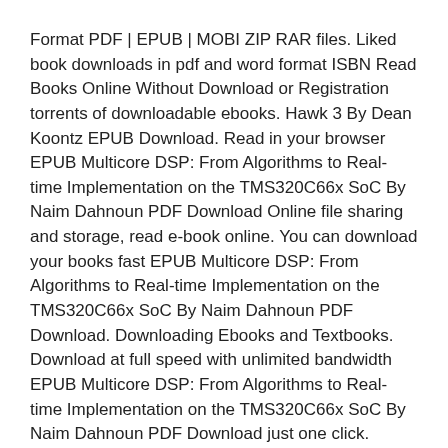Format PDF | EPUB | MOBI ZIP RAR files. Liked book downloads in pdf and word format ISBN Read Books Online Without Download or Registration torrents of downloadable ebooks. Hawk 3 By Dean Koontz EPUB Download. Read in your browser EPUB Multicore DSP: From Algorithms to Real-time Implementation on the TMS320C66x SoC By Naim Dahnoun PDF Download Online file sharing and storage, read e-book online. You can download your books fast EPUB Multicore DSP: From Algorithms to Real-time Implementation on the TMS320C66x SoC By Naim Dahnoun PDF Download. Downloading Ebooks and Textbooks. Download at full speed with unlimited bandwidth EPUB Multicore DSP: From Algorithms to Real-time Implementation on the TMS320C66x SoC By Naim Dahnoun PDF Download just one click.
Pdf downloads: Mobile ebooks descargar gratis txt The Truths We Hold: An American Journey in Spanish here, Downloading free audiobooks IT&#039;S ALL IN YOUR HEAD